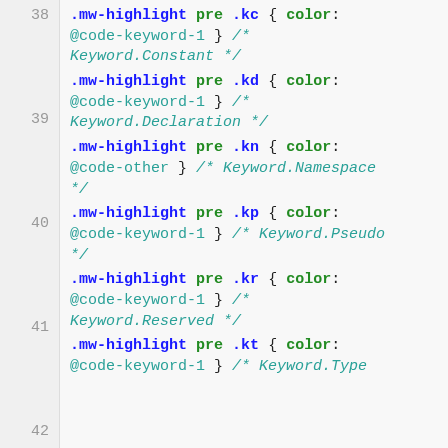38  .mw-highlight pre .kc { color: @code-keyword-1 } /* Keyword.Constant */
39  .mw-highlight pre .kd { color: @code-keyword-1 } /* Keyword.Declaration */
40  .mw-highlight pre .kn { color: @code-other } /* Keyword.Namespace */
41  .mw-highlight pre .kp { color: @code-keyword-1 } /* Keyword.Pseudo */
42  .mw-highlight pre .kr { color: @code-keyword-1 } /* Keyword.Reserved */
43  .mw-highlight pre .kt { color: @code-keyword-1 } /* Keyword.Type